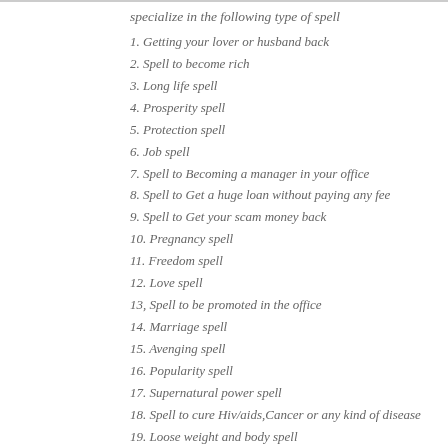specialize in the following type of spell
1. Getting your lover or husband back
2. Spell to become rich
3. Long life spell
4. Prosperity spell
5. Protection spell
6. Job spell
7. Spell to Becoming a manager in your office
8. Spell to Get a huge loan without paying any fee
9. Spell to Get your scam money back
10. Pregnancy spell
11. Freedom spell
12. Love spell
13, Spell to be promoted in the office
14. Marriage spell
15. Avenging spell
16. Popularity spell
17. Supernatural power spell
18. Spell to cure Hiv/aids,Cancer or any kind of disease
19. Loose weight and body spell
20. Spell to win court case
Reply